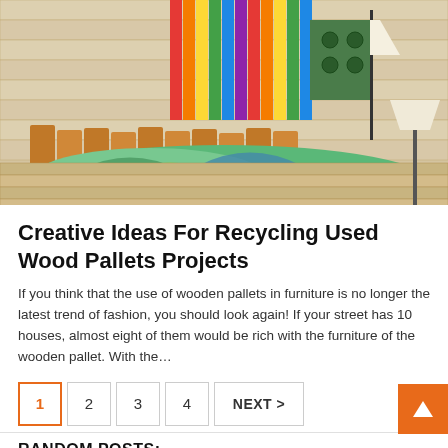[Figure (photo): A bedroom with a wooden pallet headboard bed, colorful tropical leaf bedding, rainbow-colored decorative items/flags in the background, and a lamp. The floor and walls appear to be made of light wood planks.]
Creative Ideas For Recycling Used Wood Pallets Projects
If you think that the use of wooden pallets in furniture is no longer the latest trend of fashion, you should look again! If your street has 10 houses, almost eight of them would be rich with the furniture of the wooden pallet. With the…
RANDOM POSTS: